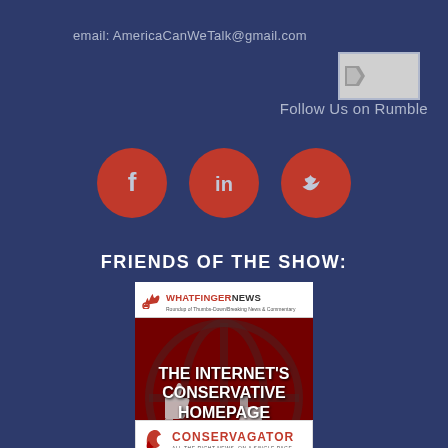email: AmericaCanWeTalk@gmail.com
[Figure (logo): Rumble logo image box]
Follow Us on Rumble
[Figure (infographic): Three red circular social media icons: Facebook, LinkedIn, Twitter]
FRIENDS OF THE SHOW:
[Figure (screenshot): WhatfingerNews advertisement banner - The Internet's Conservative Homepage with thumbs up/down logo]
[Figure (logo): Conservagator logo - All The Right News, On A Single Page]